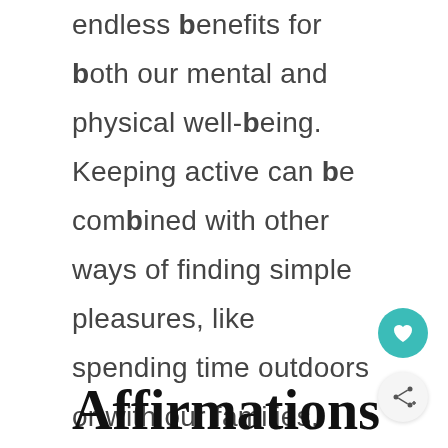endless benefits for both our mental and physical well-being. Keeping active can be combined with other ways of finding simple pleasures, like spending time outdoors or with our families.
Affirmations